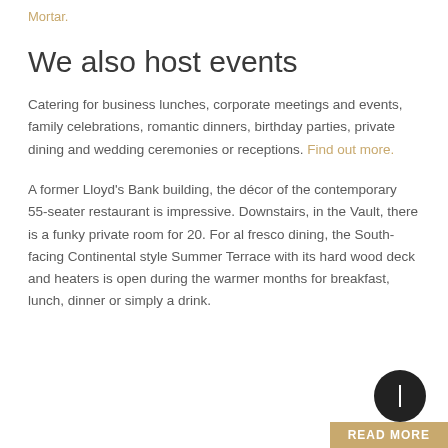Mortar.
We also host events
Catering for business lunches, corporate meetings and events, family celebrations, romantic dinners, birthday parties, private dining and wedding ceremonies or receptions. Find out more.
A former Lloyd's Bank building, the décor of the contemporary 55-seater restaurant is impressive. Downstairs, in the Vault, there is a funky private room for 20. For al fresco dining, the South-facing Continental style Summer Terrace with its hard wood deck and heaters is open during the warmer months for breakfast, lunch, dinner or simply a drink.